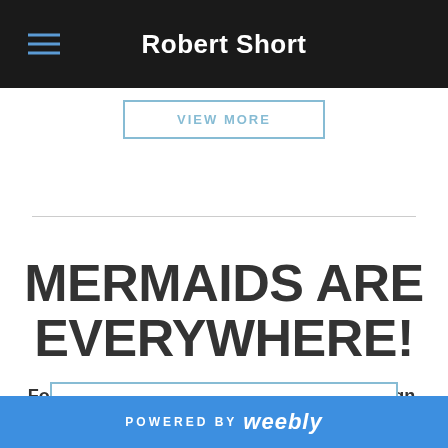Robert Short
VIEW MORE
MERMAIDS ARE EVERYWHERE!
For Robert Short's exclusive mermaid design, fabrication, supervision and rental services, click below.
MALIBU MERMAIDS
POWERED BY weebly